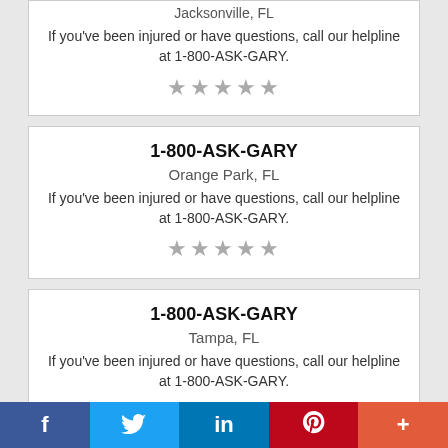Jacksonville, FL
If you've been injured or have questions, call our helpline at 1-800-ASK-GARY.
★★★★★
1-800-ASK-GARY
Orange Park, FL
If you've been injured or have questions, call our helpline at 1-800-ASK-GARY.
★★★★★
1-800-ASK-GARY
Tampa, FL
If you've been injured or have questions, call our helpline at 1-800-ASK-GARY.
★★★★★
f  Twitter  in  Pinterest  +